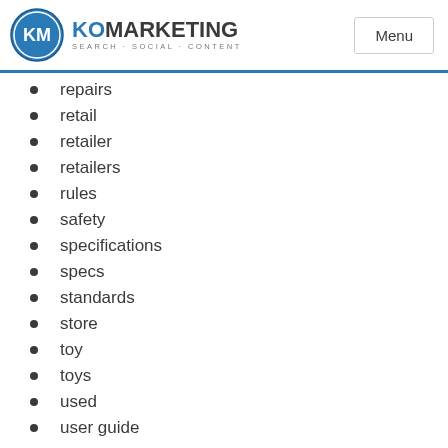KO MARKETING SEARCH·SOCIAL·CONTENT | Menu
repairs
retail
retailer
retailers
rules
safety
specifications
specs
standards
store
toy
toys
used
user guide